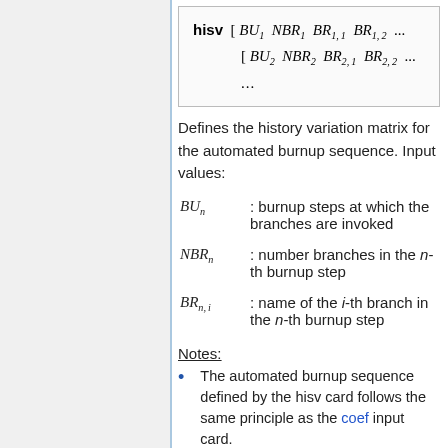Defines the history variation matrix for the automated burnup sequence. Input values:
BU_n : burnup steps at which the branches are invoked
NBR_n : number branches in the n-th burnup step
BR_{n,i} : name of the i-th branch in the n-th burnup step
Notes:
The automated burnup sequence defined by the hisv card follows the same principle as the coef input card.